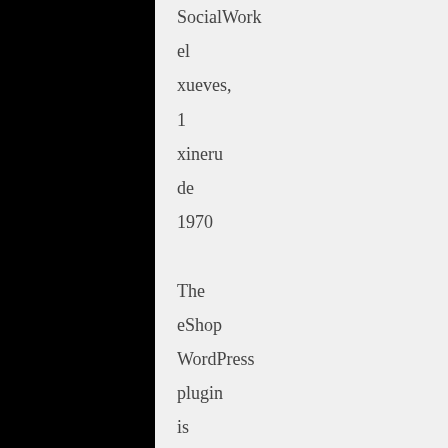SocialWork el xueves, 1 xineru de 1970 The eShop WordPress plugin is known as a sensible way for you to start internet marketing. It is most effective for small-